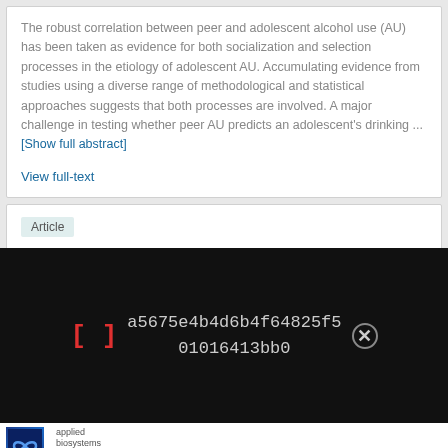The robust correlation between peer and adolescent alcohol use (AU) has been taken as evidence for both socialization and selection processes in the etiology of adolescent AU. Accumulating evidence from studies using a diverse range of methodological and statistical approaches suggests that both processes are involved. A major challenge in testing whether peer AU predicts an adolescent's drinking ... [Show full abstract]
View full-text
Article
[Figure (other): Dark overlay bar showing a red bracket icon '[]', a hash string 'a5675e4b4d6b4f64825f5 01016413bb0', and a close button circle with X]
[Figure (logo): Applied Biosystems logo with blue infinity symbol]
Free T-Shirt anyone?